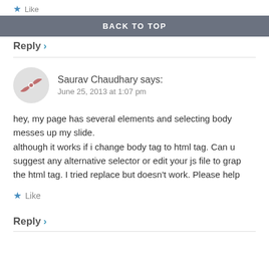Like
BACK TO TOP
Reply ›
[Figure (illustration): Decorative avatar icon: a red/salmon colored pinwheel/star shape on a light grey circular background]
Saurav Chaudhary says:
June 25, 2013 at 1:07 pm
hey, my page has several elements and selecting body messes up my slide.
although it works if i change body tag to html tag. Can u suggest any alternative selector or edit your js file to grap the html tag. I tried replace but doesn't work. Please help
★ Like
Reply ›